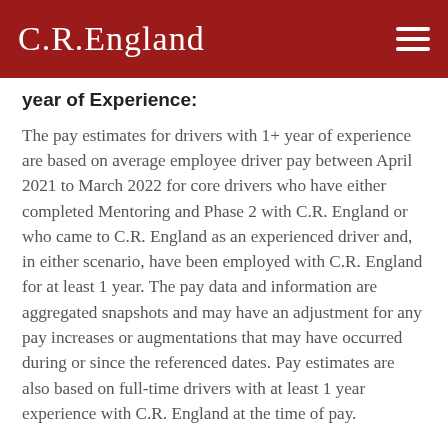C.R.England
year of Experience:
The pay estimates for drivers with 1+ year of experience are based on average employee driver pay between April 2021 to March 2022 for core drivers who have either completed Mentoring and Phase 2 with C.R. England or who came to C.R. England as an experienced driver and, in either scenario, have been employed with C.R. England for at least 1 year. The pay data and information are aggregated snapshots and may have an adjustment for any pay increases or augmentations that may have occurred during or since the referenced dates. Pay estimates are also based on full-time drivers with at least 1 year experience with C.R. England at the time of pay.